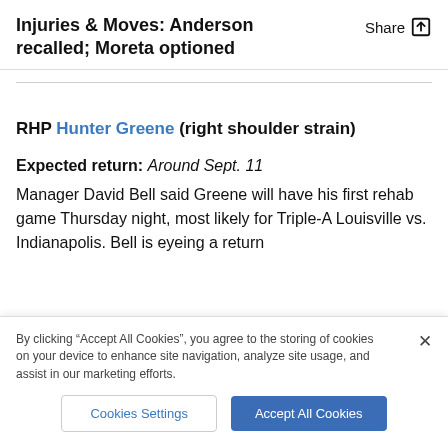Injuries & Moves: Anderson recalled; Moreta optioned
RHP Hunter Greene (right shoulder strain)
Expected return: Around Sept. 11
Manager David Bell said Greene will have his first rehab game Thursday night, most likely for Triple-A Louisville vs. Indianapolis. Bell is eyeing a return
By clicking “Accept All Cookies”, you agree to the storing of cookies on your device to enhance site navigation, analyze site usage, and assist in our marketing efforts.
Cookies Settings
Accept All Cookies